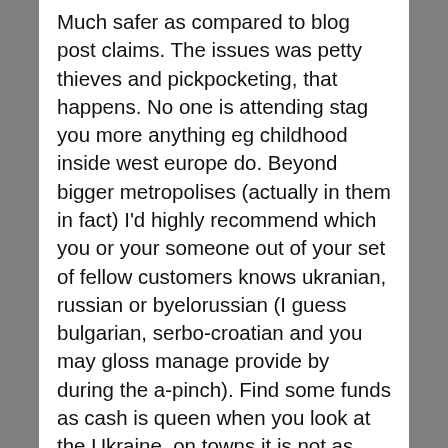Much safer as compared to blog post claims. The issues was petty thieves and pickpocketing, that happens. No one is attending stag you more anything eg childhood inside west europe do. Beyond bigger metropolises (actually in them in fact) I'd highly recommend which you or your someone out of your set of fellow customers knows ukranian, russian or byelorussian (I guess bulgarian, serbo-croatian and you may gloss manage provide by during the a-pinch). Find some funds as cash is queen when you look at the Ukraine, on towns it is not as vital, however, trust me, you should have some you. Not as far even if by the factors above. Overall: I would suggest travelling to Ukraine. It's a highly stunning nation, and so i perform strongly recommend meeting in the cities to check out brand new country! Individuals are amicable and hospitality is excellent. End up being sincere and you will act reasonably because the